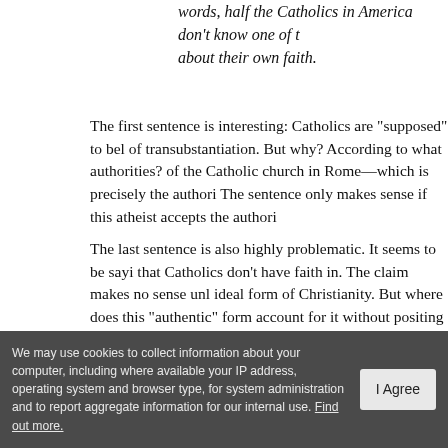words, half the Catholics in America don't know one of t… about their own faith.
The first sentence is interesting: Catholics are "supposed" to believe in transubstantiation. But why? According to what authorities? [of the Catholic church in Rome—which is precisely the authori… The sentence only makes sense if this atheist accepts the authori…
The last sentence is also highly problematic. It seems to be saying… that Catholics don't have faith in. The claim makes no sense unl… ideal form of Christianity. But where does this "authentic" form… account for it without positing a supernatural essence? Has this… supernatural entities for another?
On one level it's somewhat ironic to me that atheists would be i…
We may use cookies to collect information about your computer, including where available your IP address, operating system and browser type, for system administration and to report aggregate information for our internal use. Find out more.